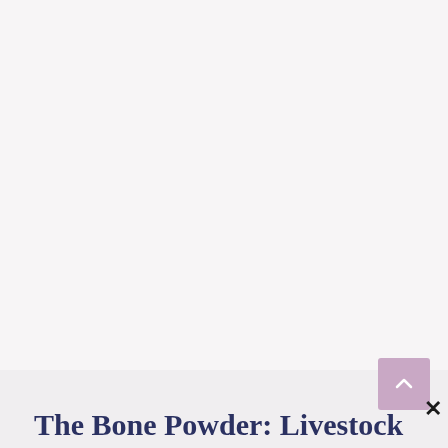[Figure (other): Scroll-to-top button: a pink/mauve rounded square with an upward-pointing chevron arrow icon, positioned in the lower-right area of the page]
The Bone Powder: Livestock